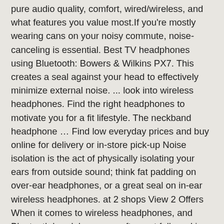pure audio quality, comfort, wired/wireless, and what features you value most.If you're mostly wearing cans on your noisy commute, noise-canceling is essential. Best TV headphones using Bluetooth: Bowers & Wilkins PX7. This creates a seal against your head to effectively minimize external noise. ... look into wireless headphones. Find the right headphones to motivate you for a fit lifestyle. The neckband headphone … Find low everyday prices and buy online for delivery or in-store pick-up Noise isolation is the act of physically isolating your ears from outside sound; think fat padding on over-ear headphones, or a great seal on in-ear wireless headphones. at 2 shops View 2 Offers When it comes to wireless headphones, and Bluetooth headphones we often get folks asking, what are the best wireless headphones, or what are the best in-ear wireless headphones? Enjoy high-quality audio output with a stylish headset of your choice from Amazon.in. See how we're